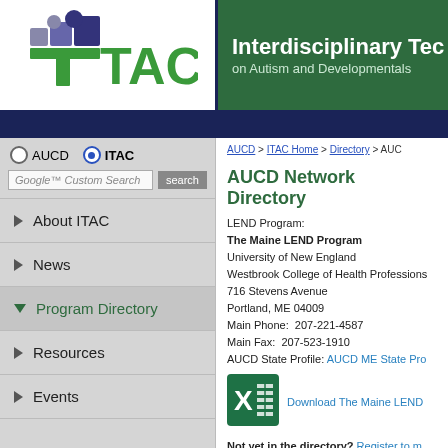[Figure (logo): ITAC logo with colored blocks and green TAC text]
Interdisciplinary Tec on Autism and Developmental
AUCD > ITAC Home > Directory > AUC
AUCD Network Directory
LEND Program:
The Maine LEND Program
University of New England
Westbrook College of Health Professions
716 Stevens Avenue
Portland, ME 04009
Main Phone: 207-221-4587
Main Fax: 207-523-1910
AUCD State Profile: AUCD ME State Pro
[Figure (logo): Microsoft Excel green icon with X]
Download The Maine LEND
Not yet in the directory? Register to m
About ITAC
News
Program Directory
Resources
Events